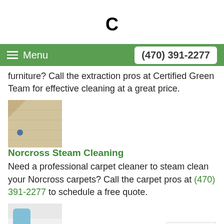[Figure (logo): Bold letter C logo]
Menu | (470) 391-2277
furniture? Call the extraction pros at Certified Green Team for effective cleaning at a great price.
[Figure (photo): Close-up of a beige carpet with a small blue object]
Norcross Steam Cleaning
Need a professional carpet cleaner to steam clean your Norcross carpets? Call the carpet pros at (470) 391-2277 to schedule a free quote.
[Figure (photo): Person cleaning mattress with gloved hands]
Norcross Mattress Cleaning